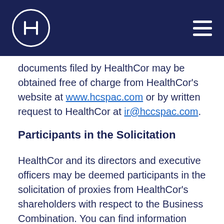HealthCor — Header navigation bar with logo and menu
documents filed by HealthCor may be obtained free of charge from HealthCor’s website at www.hcspac.com or by written request to HealthCor at ir@hccspac.com.
Participants in the Solicitation
HealthCor and its directors and executive officers may be deemed participants in the solicitation of proxies from HealthCor’s shareholders with respect to the Business Combination. You can find information about HealthCor’s directors and executive officers and their ownership of HealthCor’s securities in the Registration Statement for the Business